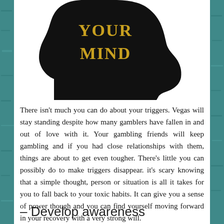[Figure (illustration): Black silhouette of a human head profile facing right, with golden/yellow text 'YOUR MIND' displayed inside the silhouette against a white background.]
There isn't much you can do about your triggers. Vegas will stay standing despite how many gamblers have fallen in and out of love with it. Your gambling friends will keep gambling and if you had close relationships with them, things are about to get even tougher. There's little you can possibly do to make triggers disappear. it's scary knowing that a simple thought, person or situation is all it takes for you to fall back to your toxic habits. It can give you a sense of power though and you can find yourself moving forward in your recovery with a very strong will.
– Develop awareness